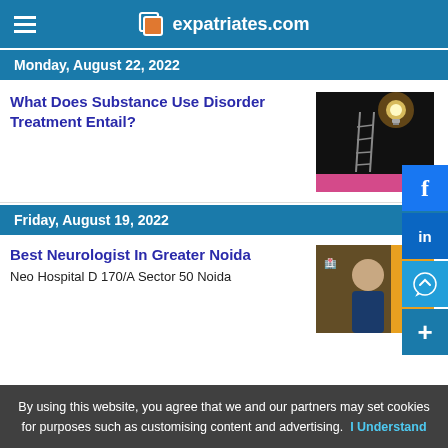expatriates.com
Monday, August 22, 2022
What Does Substance Use Disorder Treatment Entail?
[Figure (photo): Dark background with a ladder leaning against a glowing lightbulb, pink accent at bottom]
Friday, August 19, 2022
Best Neurologist In Greater Noida
Neo Hospital D 170/A Sector 50 Noida
[Figure (photo): Medical professional photo with yellow accent]
By using this website, you agree that we and our partners may set cookies for purposes such as customising content and advertising.  I Understand